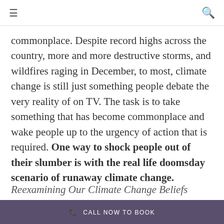≡  🔍
commonplace. Despite record highs across the country, more and more destructive storms, and wildfires raging in December, to most, climate change is still just something people debate the very reality of on TV. The task is to take something that has become commonplace and wake people up to the urgency of action that is required. One way to shock people out of their slumber is with the real life doomsday scenario of runaway climate change.
Reexamining Our Climate Change Beliefs
📞 CALL NOW TO BOOK